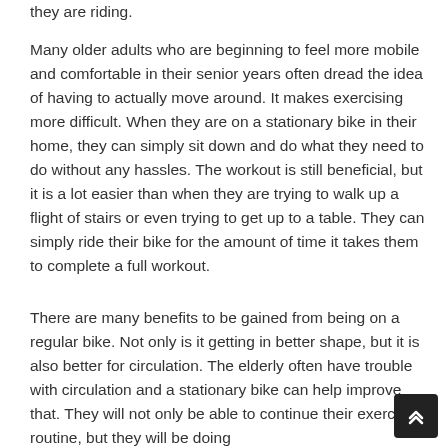they are riding.
Many older adults who are beginning to feel more mobile and comfortable in their senior years often dread the idea of having to actually move around. It makes exercising more difficult. When they are on a stationary bike in their home, they can simply sit down and do what they need to do without any hassles. The workout is still beneficial, but it is a lot easier than when they are trying to walk up a flight of stairs or even trying to get up to a table. They can simply ride their bike for the amount of time it takes them to complete a full workout.
There are many benefits to be gained from being on a regular bike. Not only is it getting in better shape, but it is also better for circulation. The elderly often have trouble with circulation and a stationary bike can help improve that. They will not only be able to continue their exercise routine, but they will be doing